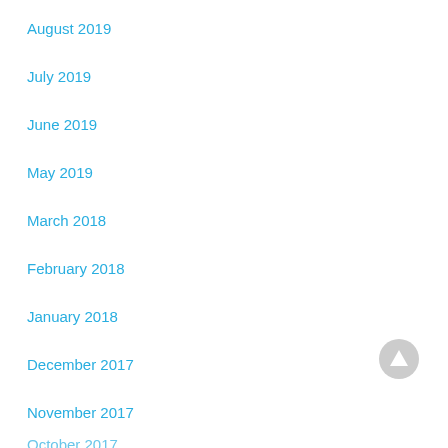August 2019
July 2019
June 2019
May 2019
March 2018
February 2018
January 2018
December 2017
November 2017
October 2017